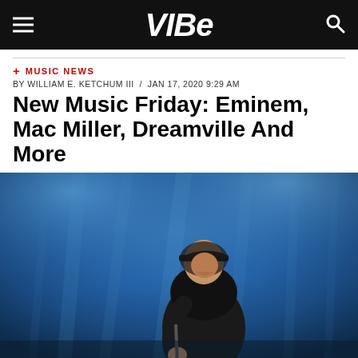VIBE
+ MUSIC NEWS
BY WILLIAM E. KETCHUM III / JAN 17, 2020 9:29 AM
New Music Friday: Eminem, Mac Miller, Dreamville And More
[Figure (photo): A performer in a black hoodie and cap holding a microphone stand on stage, lit by blue stage lighting]